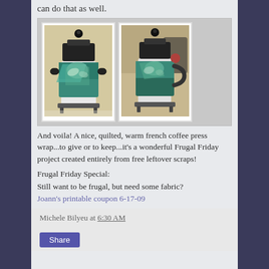can do that as well.
[Figure (photo): Two photos side by side of a French coffee press with a colorful quilted fabric wrap in teal, blue and green tones.]
And voila! A nice, quilted, warm french coffee press wrap...to give or to keep...it's a wonderful Frugal Friday project created entirely from free leftover scraps!
Frugal Friday Special:
Still want to be frugal, but need some fabric?
Joann's printable coupon 6-17-09
Michele Bilyeu at 6:30 AM
Share